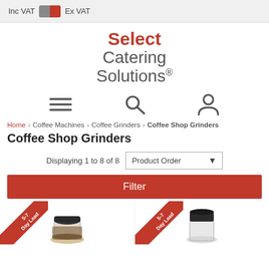Inc VAT  Ex VAT
[Figure (logo): Select Catering Solutions logo with red 'Select' text and grey 'Catering Solutions' text]
[Figure (infographic): Navigation icons: hamburger menu, search magnifying glass, user/account icon]
Home › Coffee Machines › Coffee Grinders › Coffee Shop Grinders
Coffee Shop Grinders
Displaying 1 to 8 of 8  Product Order
Filter
[Figure (photo): Two coffee grinder product images with '5-7 Day Lead' red corner badges, partially visible at bottom of page]